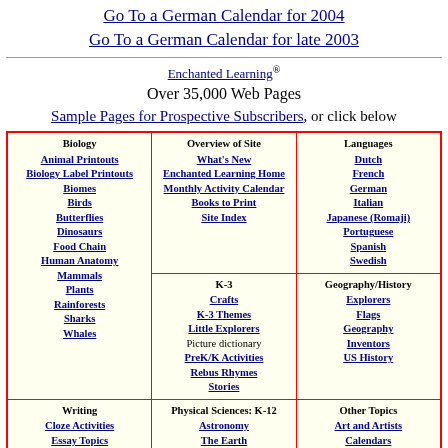Go To a German Calendar for 2004
Go To a German Calendar for late 2003
Enchanted Learning® Over 35,000 Web Pages
Sample Pages for Prospective Subscribers, or click below
| Column 1 | Column 2 | Column 3 |
| --- | --- | --- |
| Overview of Site
What's New
Enchanted Learning Home
Monthly Activity Calendar
Books to Print
Site Index | Biology
Animal Printouts
Biology Label Printouts
Biomes
Birds
Butterflies
Dinosaurs
Food Chain
Human Anatomy
Mammals
Plants
Rainforests
Sharks
Whales | Languages
Dutch
French
German
Italian
Japanese (Romaji)
Portuguese
Spanish
Swedish |
| K-3
Crafts
K-3 Themes
Little Explorers
Picture dictionary
PreK/K Activities
Rebus Rhymes
Stories |  | Geography/History
Explorers
Flags
Geography
Inventors
US History |
| Writing
Cloze Activities
Essay Topics
Newspaper
Writing Activities | Physical Sciences: K-12
Astronomy
The Earth
Geology
Hurricanes | Other Topics
Art and Artists
Calendars
College Finder
Crafts |